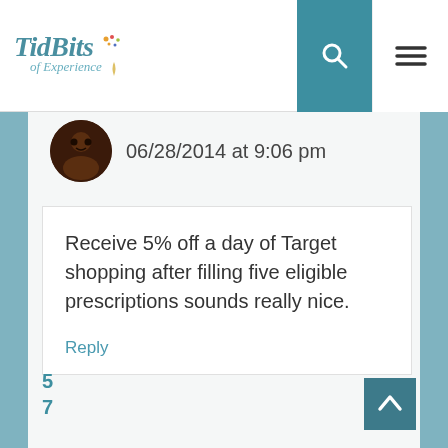[Figure (logo): TidBits of Experience blog logo with colorful dots and teal/yellow color scheme]
06/28/2014 at 9:06 pm
Receive 5% off a day of Target shopping after filling five eligible prescriptions sounds really nice.
Reply
5
7